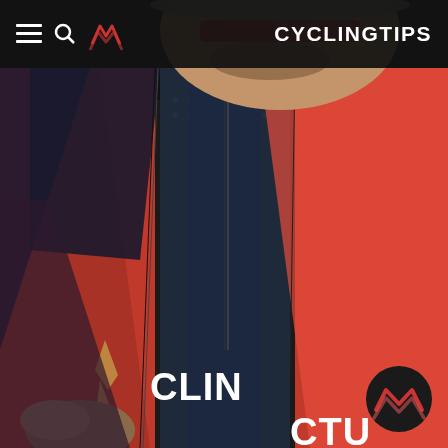[Figure (photo): Close-up photo of a male cyclist wearing a red and navy blue cycling jersey with 'CYCLINGTIPS' text visible on the jersey. The cyclist is zipping up an outer jacket over the jersey. The background is dark. The cyclist wears sunglasses and has a beard.]
CYCLINGTIPS
[Figure (logo): CyclingTips mountain/chevron logo mark — a circular dark badge with red and white chevron/mountain wave icon, bottom right corner]